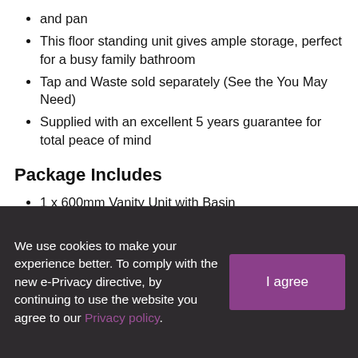and pan
This floor standing unit gives ample storage, perfect for a busy family bathroom
Tap and Waste sold separately (See the You May Need)
Supplied with an excellent 5 years guarantee for total peace of mind
Package Includes
1 x 600mm Vanity Unit with Basin
1 x 500 WC Unit
1 x 1100mm Compact Basin
1 x Back to Wall Toilet
1 x Seat, Cistern & Floor Fixing Kit
We use cookies to make your experience better. To comply with the new e-Privacy directive, by continuing to use the website you agree to our Privacy policy.